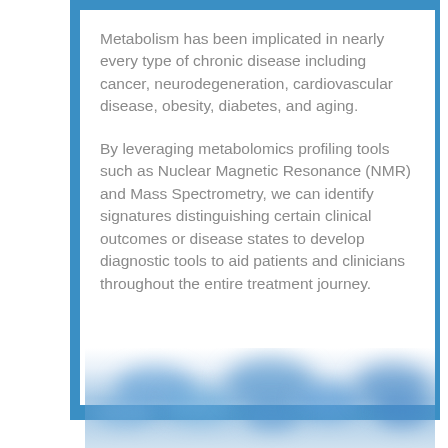Metabolism has been implicated in nearly every type of chronic disease including cancer, neurodegeneration, cardiovascular disease, obesity, diabetes, and aging.
By leveraging metabolomics profiling tools such as Nuclear Magnetic Resonance (NMR) and Mass Spectrometry, we can identify signatures distinguishing certain clinical outcomes or disease states to develop diagnostic tools to aid patients and clinicians throughout the entire treatment journey.
[Figure (photo): Blurred abstract image of blue molecular or chemical shapes, partially visible at the bottom of the page.]